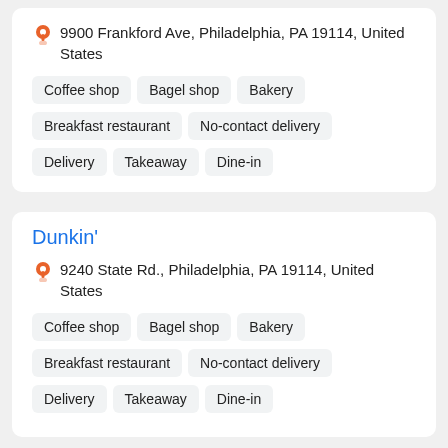9900 Frankford Ave, Philadelphia, PA 19114, United States
Coffee shop
Bagel shop
Bakery
Breakfast restaurant
No-contact delivery
Delivery
Takeaway
Dine-in
Dunkin'
9240 State Rd., Philadelphia, PA 19114, United States
Coffee shop
Bagel shop
Bakery
Breakfast restaurant
No-contact delivery
Delivery
Takeaway
Dine-in